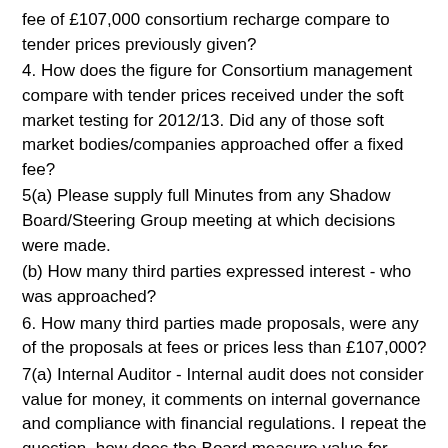fee of £107,000 consortium recharge compare to tender prices previously given?
4. How does the figure for Consortium management compare with tender prices received under the soft market testing for 2012/13. Did any of those soft market bodies/companies approached offer a fixed fee?
5(a) Please supply full Minutes from any Shadow Board/Steering Group meeting at which decisions were made.
(b) How many third parties expressed interest - who was approached?
6. How many third parties made proposals, were any of the proposals at fees or prices less than £107,000?
7(a) Internal Auditor - Internal audit does not consider value for money, it comments on internal governance and compliance with financial regulations. I repeat the question, how does the Board measure value for money against the provided service?
(b) What are the key performance indicators against